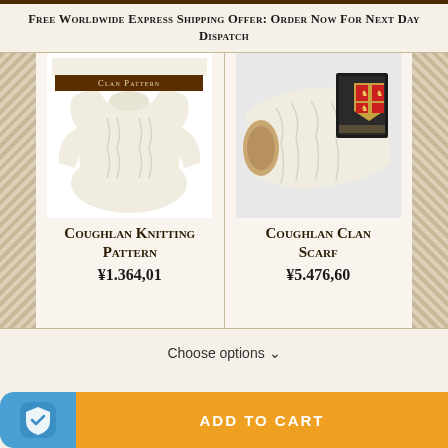Free Worldwide Express Shipping Offer: Order Now For Next Day Dispatch
[Figure (photo): Cream/ivory Aran knit sweater with cable pattern, shown against white background, with clan pattern label bar above]
[Figure (photo): Cream/ivory Aran knit clan scarf folded/rolled with heraldic clan crest card visible, shown against light grey background]
Coughlan Knitting Pattern
¥1.364,01
Coughlan Clan Scarf
¥5.476,60
Choose options ∨
ADD TO CART